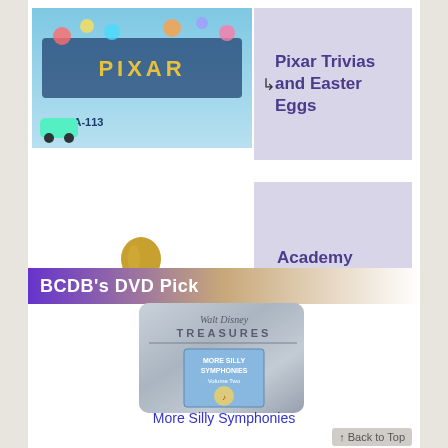[Figure (illustration): Pixar characters and logo with text 'AND A-113' on a blue/colorful background]
↳ Pixar Trivias and Easter Eggs
[Figure (photo): Golden Oscar Academy Award statuette on black base]
↳ Academy Award Winning Animated Shorts
BCDB's DVD Pick
[Figure (photo): Walt Disney Treasures tin case featuring More Silly Symphonies Volume Two]
More Silly Symphonies
Back to Top